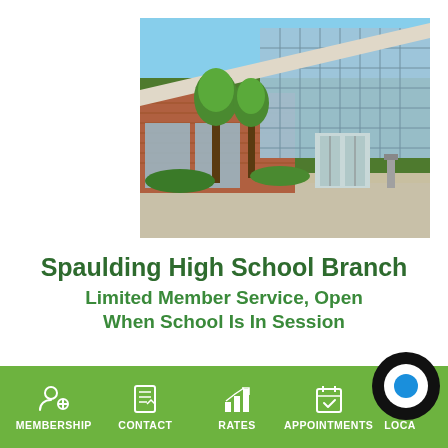[Figure (photo): Exterior photograph of Spaulding High School Branch building — modern brick and glass facade with young trees in front, blue sky background]
Spaulding High School Branch
Limited Member Service, Open When School Is In Session
[Figure (infographic): Green footer navigation bar with icons and labels: MEMBERSHIP, CONTACT, RATES, APPOINTMENTS, LOCA (partially visible), and a chat bubble icon in lower right corner]